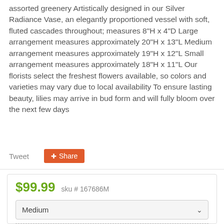assorted greenery Artistically designed in our Silver Radiance Vase, an elegantly proportioned vessel with soft, fluted cascades throughout; measures 8"H x 4"D Large arrangement measures approximately 20"H x 13"L Medium arrangement measures approximately 19"H x 12"L Small arrangement measures approximately 18"H x 11"L Our florists select the freshest flowers available, so colors and varieties may vary due to local availability To ensure lasting beauty, lilies may arrive in bud form and will fully bloom over the next few days
Tweet  Share
$99.99  sku # 167686M
Medium
Order by 1:00 PM EST for same day pickup or delivery!
Delivery or Pickup?